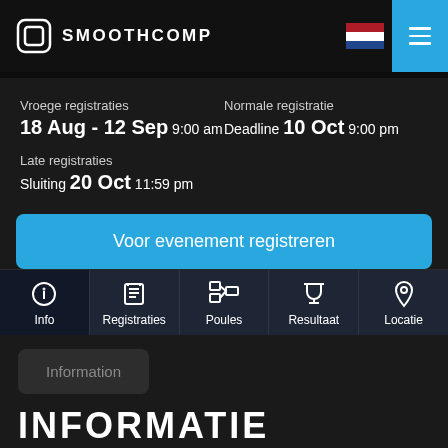SMOOTHCOMP
Vroege registraties 18 Aug - 12 Sep 9:00 am
Normale registratie Deadline 10 Oct 9:00 pm
Late registraties Sluiting 20 Oct 11:59 pm
Voor evenement registreren
Info
Registraties
Poules
Resultaat
Locatie
Information
INFORMATIE